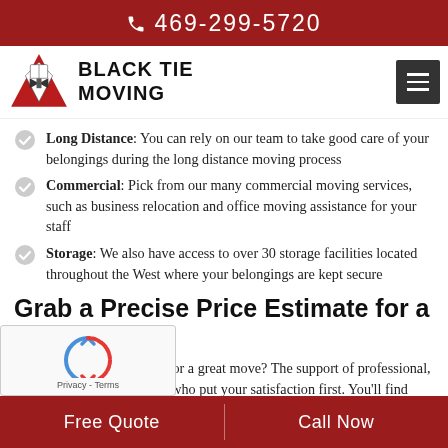469-299-5720
[Figure (logo): Black Tie Moving logo with triangular red/white shield and bow tie graphic, company name in bold uppercase]
Long Distance: You can rely on our team to take good care of your belongings during the long distance moving process
Commercial: Pick from our many commercial moving services, such as business relocation and office moving assistance for your staff
Storage: We also have access to over 30 storage facilities located throughout the West where your belongings are kept secure
Grab a Precise Price Estimate for a Wylie Move
Want to know what makes for a great move? The support of professional, experienced Dallas movers who put your satisfaction first. You’ll find exactly that at Black Tie Moving,
Free Quote    Call Now